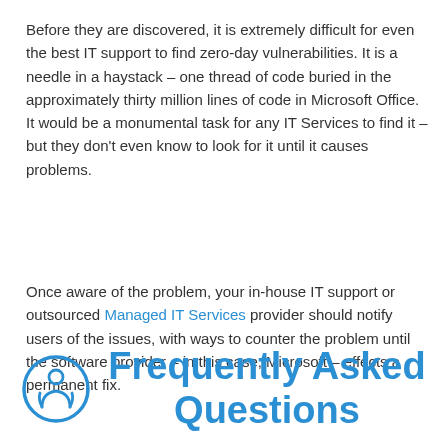Before they are discovered, it is extremely difficult for even the best IT support to find zero-day vulnerabilities. It is a needle in a haystack – one thread of code buried in the approximately thirty million lines of code in Microsoft Office. It would be a monumental task for any IT Services to find it – but they don't even know to look for it until it causes problems.
Once aware of the problem, your in-house IT support or outsourced Managed IT Services provider should notify users of the issues, with ways to counter the problem until the software provider – in this case, Microsoft – effects a permanent fix.
Frequently Asked Questions